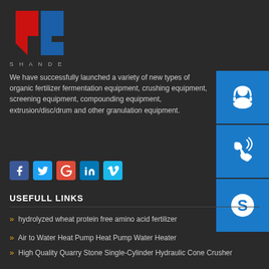[Figure (logo): Shande logo — stylized red and blue '5' and 'D' shapes with text 'SHANDE' below]
[Figure (infographic): Three blue icon boxes on right side: headset/customer support icon, phone/call icon, Skype icon]
We have successfully launched a variety of new types of organic fertilizer fermentation equipment, crushing equipment, screening equipment, compounding equipment, extrusion/disc/drum and other granulation equipment.
[Figure (infographic): Row of social media icons: Facebook (blue), Twitter (cyan), Google+ (red), LinkedIn (blue), Vimeo (cyan)]
USEFULL LINKS
hydrolyzed wheat protein free amino acid fertilizer
Air to Water Heat Pump Heat Pump Water Heater
High Quality Quarry Stone Single-Cylinder Hydraulic Cone Crusher